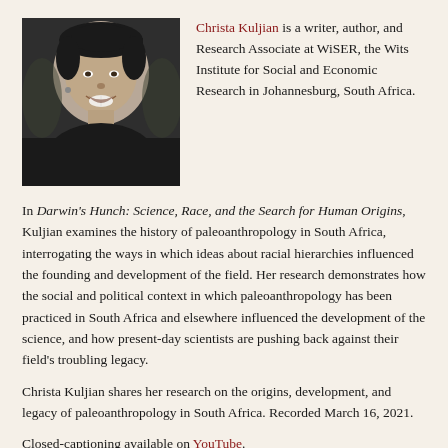[Figure (photo): Black and white portrait photo of Christa Kuljian, a woman smiling, wearing a dark hat and dark top]
Christa Kuljian is a writer, author, and Research Associate at WiSER, the Wits Institute for Social and Economic Research in Johannesburg, South Africa.
In Darwin's Hunch: Science, Race, and the Search for Human Origins, Kuljian examines the history of paleoanthropology in South Africa, interrogating the ways in which ideas about racial hierarchies influenced the founding and development of the field. Her research demonstrates how the social and political context in which paleoanthropology has been practiced in South Africa and elsewhere influenced the development of the science, and how present-day scientists are pushing back against their field's troubling legacy.
Christa Kuljian shares her research on the origins, development, and legacy of paleoanthropology in South Africa. Recorded March 16, 2021.
Closed-captioning available on YouTube.